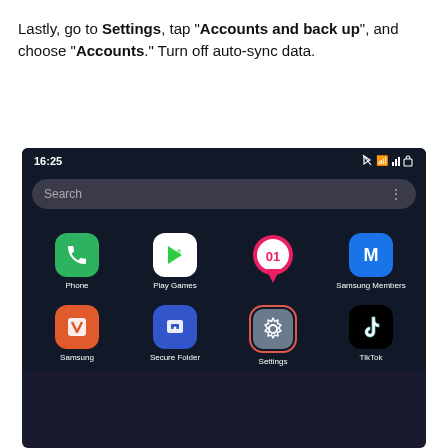Lastly, go to Settings, tap "Accounts and back up", and choose "Accounts." Turn off auto-sync data.
[Figure (screenshot): Android phone home screen showing app icons: Phone, Play Games, 01 (notification badge app), Samsung Members (top row), Samsung, Secure Folder, Settings (highlighted with orange border), TikTok (bottom row). Status bar shows 16:25 time. Search bar visible at top.]